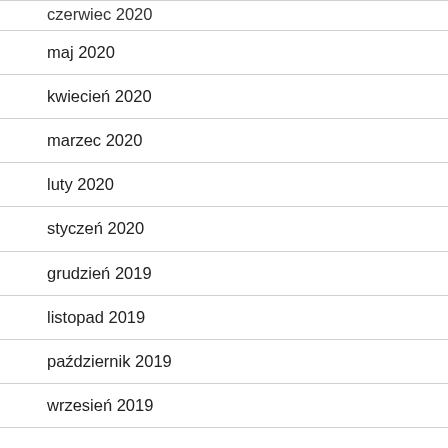czerwiec 2020
maj 2020
kwiecień 2020
marzec 2020
luty 2020
styczeń 2020
grudzień 2019
listopad 2019
październik 2019
wrzesień 2019